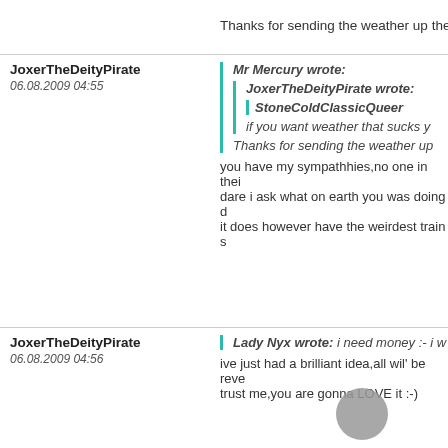Thanks for sending the weather up the ro
JoxerTheDeityPirate
06.08.2009 04:55
Mr Mercury wrote:
  JoxerTheDeityPirate wrote:
    StoneColdClassicQueen
    if you want weather that sucks y
  Thanks for sending the weather up
you have my sympathhies,no one in thei dare i ask what on earth you was doing d it does however have the weirdest train s
JoxerTheDeityPirate
06.08.2009 04:56
Lady Nyx wrote: i need money :- i w
ive just had a brilliant idea,all wil' be reve trust me,you are gonna LOVE it :-)